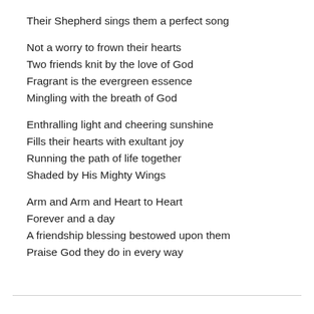Their Shepherd sings them a perfect song
Not a worry to frown their hearts
Two friends knit by the love of God
Fragrant is the evergreen essence
Mingling with the breath of God
Enthralling light and cheering sunshine
Fills their hearts with exultant joy
Running the path of life together
Shaded by His Mighty Wings
Arm and Arm and Heart to Heart
Forever and a day
A friendship blessing bestowed upon them
Praise God they do in every way